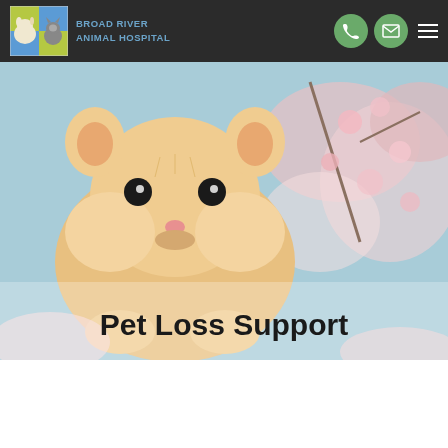[Figure (logo): Broad River Animal Hospital logo with dog and cat images on colored grid squares]
BROAD RIVER ANIMAL HOSPITAL
[Figure (photo): Close-up photo of a golden hamster with cherry blossoms in the background, serving as hero image for Pet Loss Support page]
Pet Loss Support